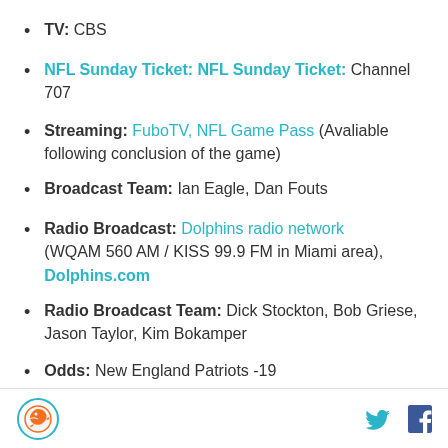TV: CBS
NFL Sunday Ticket: Channel 707
Streaming: FuboTV, NFL Game Pass (Avaliable following conclusion of the game)
Broadcast Team: Ian Eagle, Dan Fouts
Radio Broadcast: Dolphins radio network (WQAM 560 AM / KISS 99.9 FM in Miami area), Dolphins.com
Radio Broadcast Team: Dick Stockton, Bob Griese, Jason Taylor, Kim Bokamper
Odds: New England Patriots -19
Dolphins logo, Twitter, Facebook icons